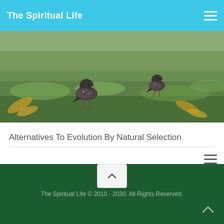The Spiritual Life
[Figure (photo): Two small brown/grey birds on green grass with dried leaves]
Alternatives To Evolution By Natural Selection
The Spiritual Life © 2010 - 2030. All Rights Reserved.